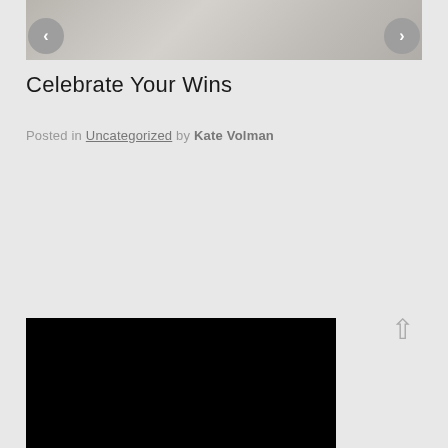[Figure (photo): Top banner image showing a desk/office scene with laptop and notebook, partially visible]
Celebrate Your Wins
Posted in Uncategorized by Kate Volman
[Figure (photo): Black rectangular image at the bottom of the page]